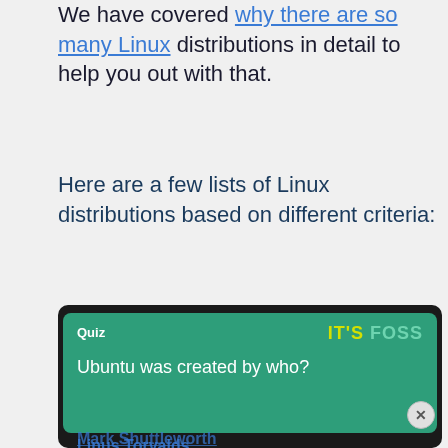We have covered why there are so many Linux distributions in detail to help you out with that.
Here are a few lists of Linux distributions based on different criteria:
[Figure (screenshot): Screenshot of an IT'S FOSS quiz widget on a dark background. The quiz card has a teal/green background and displays 'Quiz' label on the left, 'IT'S FOSS' logo on the right (yellow and teal), and the question 'Ubuntu was created by who?' A close button (x) appears at the bottom right. Below the quiz card, a blue link 'Linus Torvalds' is partially visible. An advertisement banner from FreestarHQ overlay reads 'Tailored ad management solutions for every publisher' with a LEARN MORE button. At the bottom, 'Mark Shuttleworth' text is partially visible.]